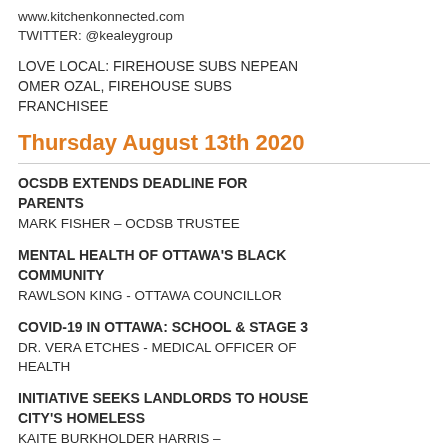www.kitchenkonnected.com
TWITTER: @kealeygroup
LOVE LOCAL: FIREHOUSE SUBS NEPEAN
OMER OZAL, FIREHOUSE SUBS FRANCHISEE
Thursday August 13th 2020
OCSDB EXTENDS DEADLINE FOR PARENTS
MARK FISHER – OCDSB TRUSTEE
MENTAL HEALTH OF OTTAWA'S BLACK COMMUNITY
RAWLSON KING - OTTAWA COUNCILLOR
COVID-19 IN OTTAWA: SCHOOL & STAGE 3
DR. VERA ETCHES - MEDICAL OFFICER OF HEALTH
INITIATIVE SEEKS LANDLORDS TO HOUSE CITY'S HOMELESS
KAITE BURKHOLDER HARRIS –